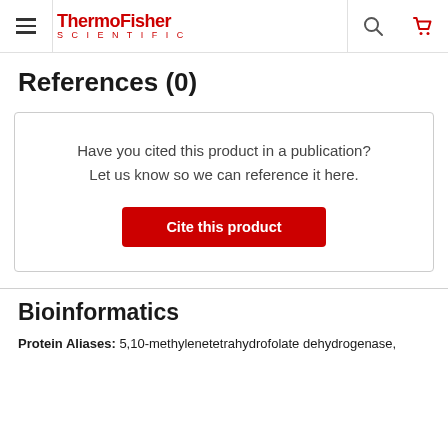ThermoFisher SCIENTIFIC
References (0)
Have you cited this product in a publication? Let us know so we can reference it here.
Cite this product
Bioinformatics
Protein Aliases: 5,10-methylenetetrahydrofolate dehydrogenase,